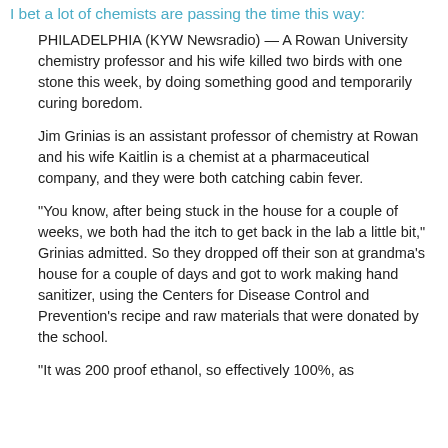I bet a lot of chemists are passing the time this way:
PHILADELPHIA (KYW Newsradio) — A Rowan University chemistry professor and his wife killed two birds with one stone this week, by doing something good and temporarily curing boredom.
Jim Grinias is an assistant professor of chemistry at Rowan and his wife Kaitlin is a chemist at a pharmaceutical company, and they were both catching cabin fever.
"You know, after being stuck in the house for a couple of weeks, we both had the itch to get back in the lab a little bit," Grinias admitted. So they dropped off their son at grandma's house for a couple of days and got to work making hand sanitizer, using the Centers for Disease Control and Prevention's recipe and raw materials that were donated by the school.
"It was 200 proof ethanol, so effectively 100%, as